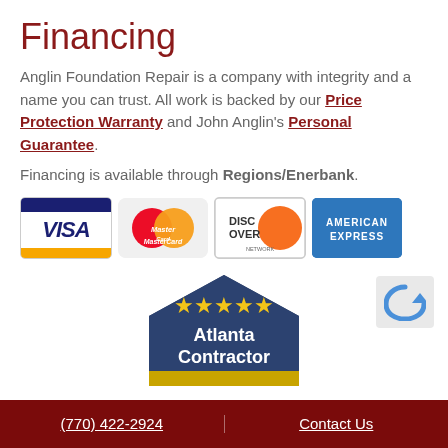Financing
Anglin Foundation Repair is a company with integrity and a name you can trust. All work is backed by our Price Protection Warranty and John Anglin's Personal Guarantee.
Financing is available through Regions/Enerbank.
[Figure (logo): Payment method logos: VISA, MasterCard, Discover Network, American Express]
[Figure (illustration): Five-star Atlanta Contractor badge — dark blue pentagon shape with gold stars and white text reading Atlanta Contractor]
(770) 422-2924   Contact Us